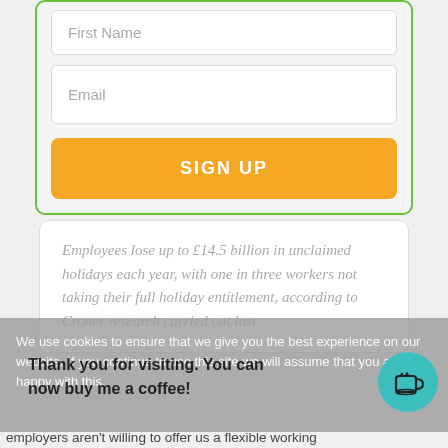[Figure (screenshot): Form with First Name input field (partially visible at top), Email input field, and orange SIGN UP button inside a green-bordered container]
Employees lose up to £14.5 billion in unclaimed holidays each year, with one in three workers not taking their full holiday entitlement, according to Croner research carried out last
We use cookies to ensure that we give you the best experience on our website. If you continue to use this site we will assume that you are happy with this.
Thank you for visiting. You can now buy me a coffee!
employers aren't willing to offer us a flexible working